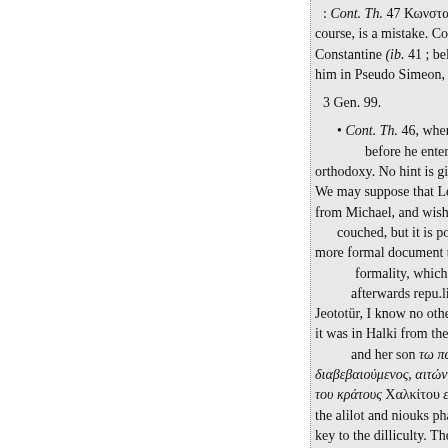: Cont. Th. 47 Κωνσταντίνος course, is a mistake. Constantin Constantine (ib. 41 ; below, p. 5 him in Pseudo Simeon, 619.
3 Gen. 99.
• Cont. Th. 46, where their before he entered Co orthodoxy. No hint is given t We may suppose that Leo ren from Michael, and wished to a couched, but it is possible more formal document to the sa formality, which the u afterwards repu.liated t Jeototür, I know no other refe it was in Halki from the lette and her son τω πατρ διαβεβαιούμενος, αιτών μετα του κράτους Χαλκίτου εις κατ the alilot and niouks phanes is key to the dilliculty. Theophan of Leo. home. The letter migh